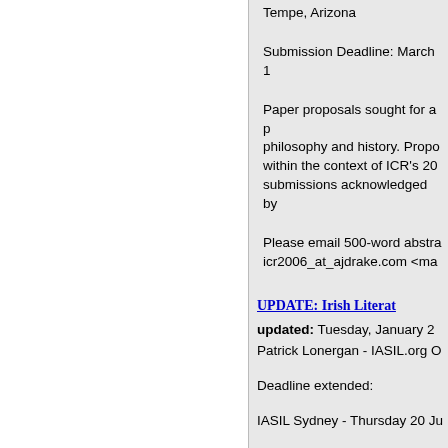Tempe, Arizona
Submission Deadline: March 1
Paper proposals sought for a philosophy and history. Proposals within the context of ICR's 20 submissions acknowledged by
Please email 500-word abstra icr2006_at_ajdrake.com <ma
UPDATE: Irish Literat
updated: Tuesday, January 2
Patrick Lonergan - IASIL.org O
Deadline extended:
IASIL Sydney - Thursday 20 Ju